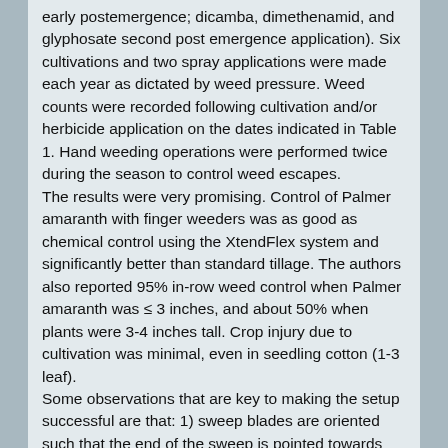early postemergence; dicamba, dimethenamid, and glyphosate second post emergence application). Six cultivations and two spray applications were made each year as dictated by weed pressure. Weed counts were recorded following cultivation and/or herbicide application on the dates indicated in Table 1. Hand weeding operations were performed twice during the season to control weed escapes.
The results were very promising. Control of Palmer amaranth with finger weeders was as good as chemical control using the XtendFlex system and significantly better than standard tillage. The authors also reported 95% in-row weed control when Palmer amaranth was ≤ 3 inches, and about 50% when plants were 3-4 inches tall. Crop injury due to cultivation was minimal, even in seedling cotton (1-3 leaf).
Some observations that are key to making the setup successful are that: 1) sweep blades are oriented such that the end of the sweep is pointed towards the crop row